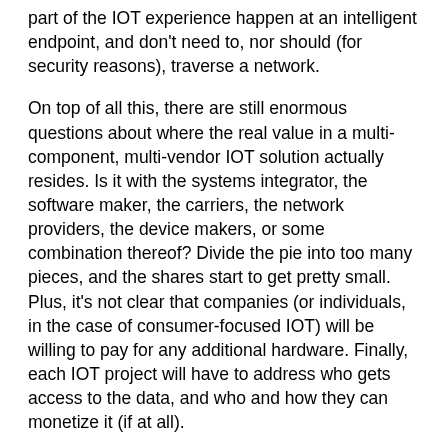part of the IOT experience happen at an intelligent endpoint, and don't need to, nor should (for security reasons), traverse a network.
On top of all this, there are still enormous questions about where the real value in a multi-component, multi-vendor IOT solution actually resides. Is it with the systems integrator, the software maker, the carriers, the network providers, the device makers, or some combination thereof? Divide the pie into too many pieces, and the shares start to get pretty small. Plus, it's not clear that companies (or individuals, in the case of consumer-focused IOT) will be willing to pay for any additional hardware. Finally, each IOT project will have to address who gets access to the data, and who and how they can monetize it (if at all).
Answers to these kinds of difficult questions—like the fully realized potential of IOT—are still many years away. However, they do start to suggest that companies which have been in more traditional hardware or software businesses, will have to start rethinking their revenue generation methods. It's likely that they'll have to create ongoing services that somehow leverage the unique characteristics of their traditional offerings and start showing...